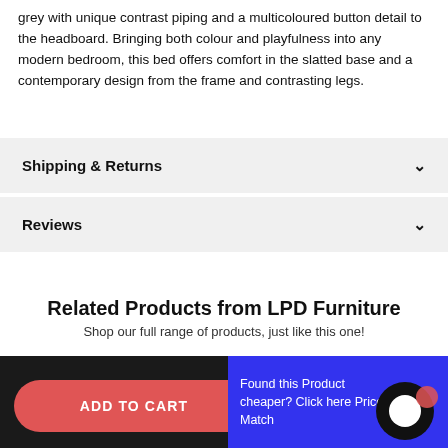grey with unique contrast piping and a multicoloured button detail to the headboard. Bringing both colour and playfulness into any modern bedroom, this bed offers comfort in the slatted base and a contemporary design from the frame and contrasting legs.
Shipping & Returns
Reviews
Related Products from LPD Furniture
Shop our full range of products, just like this one!
SALE
SALE
ADD TO CART
Found this Product cheaper? Click here Price Match